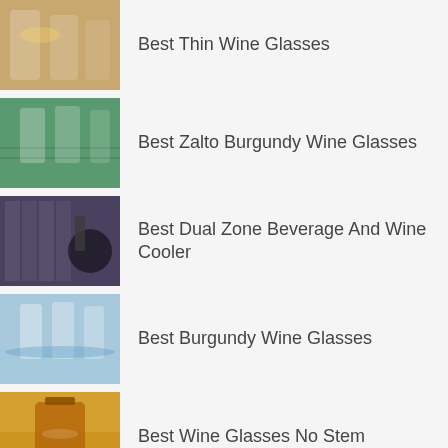Best Thin Wine Glasses
Best Zalto Burgundy Wine Glasses
Best Dual Zone Beverage And Wine Cooler
Best Burgundy Wine Glasses
Best Wine Glasses No Stem
Best Wine Cooler 100 Plus Bottles
Best Yeti Wine Tumbler With Lid
Best Wine Decanter Coopers Hawk